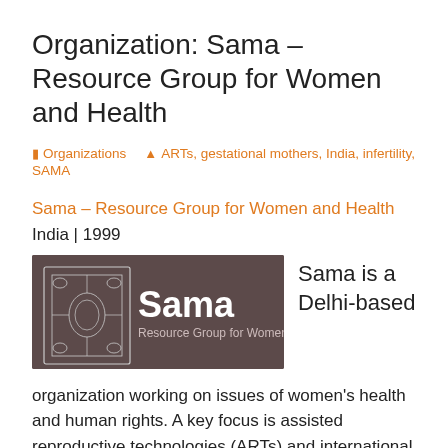Organization: Sama – Resource Group for Women and Health
Organizations  ARTs, gestational mothers, India, infertility, SAMA
Sama – Resource Group for Women and Health
India | 1999
[Figure (logo): Sama – Resource Group for Women and Health logo on dark brown/grey background with decorative border icon on left]
Sama is a Delhi-based organization working on issues of women's health and human rights. A key focus is assisted reproductive technologies (ARTs) and international commercial surrogacy